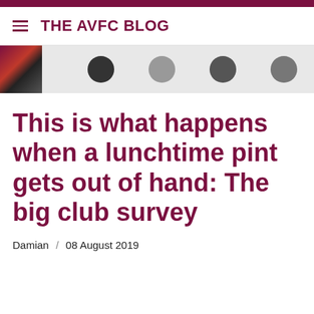THE AVFC BLOG
[Figure (photo): A partially cropped banner image showing the Aston Villa FC blog header with faces/people, with a small AVFC crest/logo on the left side]
This is what happens when a lunchtime pint gets out of hand: The big club survey
Damian  /  08 August 2019